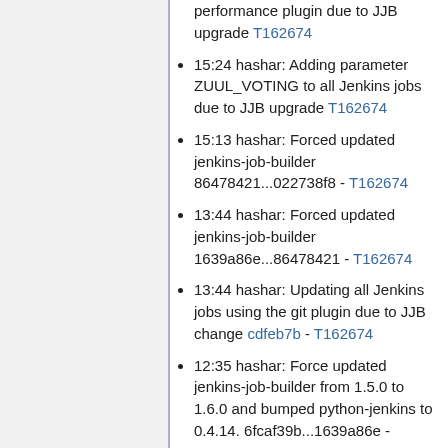performance plugin due to JJB upgrade T162674
15:24 hashar: Adding parameter ZUUL_VOTING to all Jenkins jobs due to JJB upgrade T162674
15:13 hashar: Forced updated jenkins-job-builder 86478421...022738f8 - T162674
13:44 hashar: Forced updated jenkins-job-builder 1639a86e...86478421 - T162674
13:44 hashar: Updating all Jenkins jobs using the git plugin due to JJB change cdfeb7b - T162674
12:35 hashar: Force updated jenkins-job-builder from 1.5.0 to 1.6.0 and bumped python-jenkins to 0.4.14. 6fcaf39b...1639a86e - T162674
12:35 hashar: Force updated jenkins-job-builder from 1.5.0 to 1.6.0 and